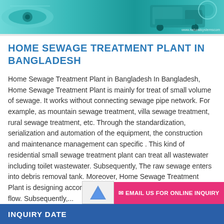[Figure (illustration): Header image with teal/cyan background showing sewage treatment plant graphics and a website URL watermark in the bottom right corner]
HOME SEWAGE TREATMENT PLANT IN BANGLADESH
Home Sewage Treatment Plant in Bangladesh In Bangladesh, Home Sewage Treatment Plant is mainly for treat of small volume of sewage. It works without connecting sewage pipe network. For example, as mountain sewage treatment, villa sewage treatment, rural sewage treatment, etc. Through the standardization, serialization and automation of the equipment, the construction and maintenance management can specific . This kind of residential small sewage treatment plant can treat all wastewater including toilet wastewater. Subsequently, The raw sewage enters into debris removal tank. Moreover, Home Sewage Treatment Plant is designing according to the best flow direction of the water flow. Subsequently,...
EMAIL US FOR ONLINE INQUIRY
INQUIRY DATE